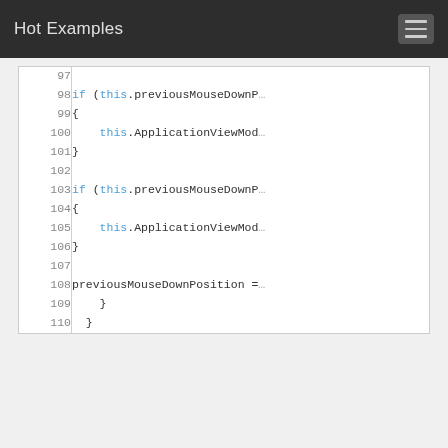Hot Examples
[Figure (screenshot): Code viewer showing lines 97-110 of source code with line numbers on the left and C#/code content on the right. Lines include if statements with this.previousMouseDownP..., this.ApplicationViewMod..., closing braces, previousMouseDownPosition = ..., and closing braces.]